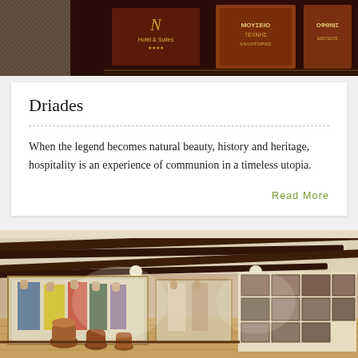[Figure (photo): Top banner image showing logos/signs including a hotel and suites establishment, a museum of folk art (ΜΟΥΣΕΙΟ ΤΕΧΝΗΣ ΚΑΛΛΙΤΟΡΙΑΣ), and another establishment, with dark red/maroon background]
Driades
When the legend becomes natural beauty, history and heritage, hospitality is an experience of communion in a timeless utopia.
Read More
[Figure (photo): Interior of a folk art museum showing traditional costumes displayed in glass cases on the left, more garments in the center, a large wall of framed artworks/photos on the right, and decorative pottery/vessels on a wooden floor in the foreground. The room has dark wooden beam ceiling and warm lighting.]